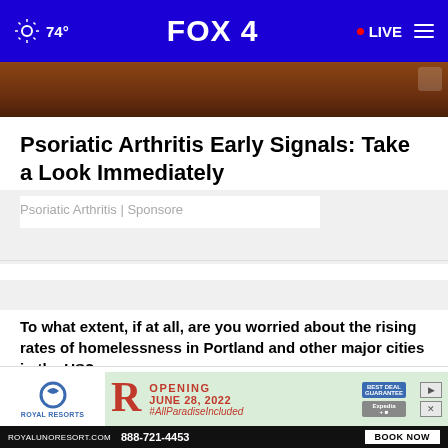74° FOX 4 LIVE
[Figure (photo): Partial photo showing a wooden/brown surface - top of article image]
Psoriatic Arthritis Early Signals: Take a Look Immediately
Psoriatic Arthritis | Sponsore
WHAT DO YOU THINK?
To what extent, if at all, are you worried about the rising rates of homelessness in Portland and other major cities in the US?
Very worried
Somewhat worried
[Figure (screenshot): Royal Resorts advertisement banner - Opening June 28, 2022 #AllParadiseIncluded - ROYALUNORESORT.COM 888-721-4453 BOOK NOW]